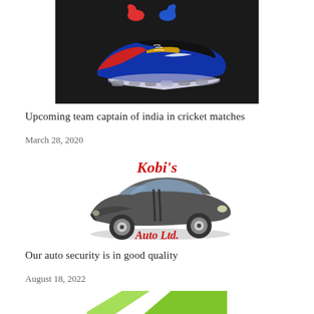[Figure (photo): Nike sneakers (colorful, multi-color) in front of a black garment/bag with red and blue design on dark background]
Upcoming team captain of india in cricket matches
March 28, 2020
[Figure (logo): Kobi's Auto Ltd. logo featuring a stylized dark sports car (Pontiac Firebird style) with red and gold script text reading 'Kobi's Auto Ltd.']
Our auto security is in good quality
August 18, 2022
[Figure (photo): Partial green object, partially visible at the bottom of the page]